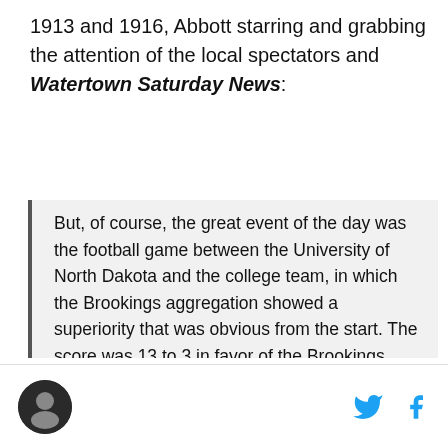1913 and 1916, Abbott starring and grabbing the attention of the local spectators and Watertown Saturday News:
But, of course, the great event of the day was the football game between the University of North Dakota and the college team, in which the Brookings aggregation showed a superiority that was obvious from the start. The score was 13 to 3 in favor of the Brookings eleven. One of the star players in the Brookings team was a Watertown boy—Cleveland Abbott, son of E.B. Abott [sic]. Cleveland won the admiration of the people of Watertown while he was attending the high school here. He has likewise won the good opinions of the people of Brookings and of